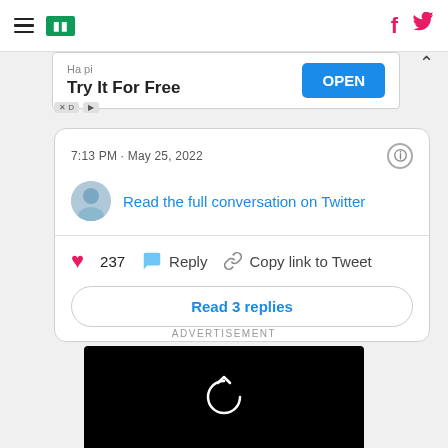HuffPost navigation bar with hamburger menu, logo, Facebook and Twitter icons
[Figure (screenshot): Ad banner overlay: 'Hapi - Try It For Free' with OPEN button and ad badges]
[Figure (screenshot): Embedded tweet card: '7:13 PM · May 25, 2022' timestamp. Link: 'Read the full conversation on Twitter'. Like: 237. Reply. Copy link to Tweet. 'Read 3 replies' button.]
ADVERTISEMENT
[Figure (screenshot): Black video player area with replay/refresh icon in center]